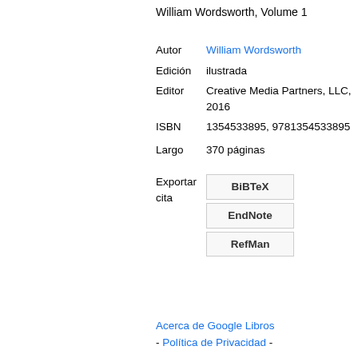William Wordsworth, Volume 1
| Autor | William Wordsworth |
| Edición | ilustrada |
| Editor | Creative Media Partners, LLC, 2016 |
| ISBN | 1354533895, 9781354533895 |
| Largo | 370 páginas |
| Exportar cita | BiBTeX | EndNote | RefMan |
Acerca de Google Libros - Política de Privacidad -